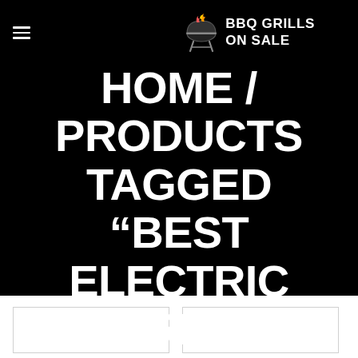BBQ GRILLS ON SALE
HOME / PRODUCTS TAGGED “BEST ELECTRIC GRILL OUTDOOR 2016”
Default sorting
[Figure (other): Two product card placeholders in white section at bottom]